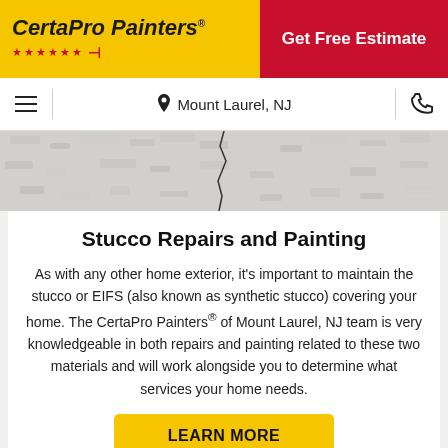[Figure (logo): CertaPro Painters logo with yellow background, red stars, and paint brush icon]
Get Free Estimate
Mount Laurel, NJ
[Figure (photo): Stucco wall with a crack running through it]
Stucco Repairs and Painting
As with any other home exterior, it's important to maintain the stucco or EIFS (also known as synthetic stucco) covering your home. The CertaPro Painters® of Mount Laurel, NJ team is very knowledgeable in both repairs and painting related to these two materials and will work alongside you to determine what services your home needs.
LEARN MORE